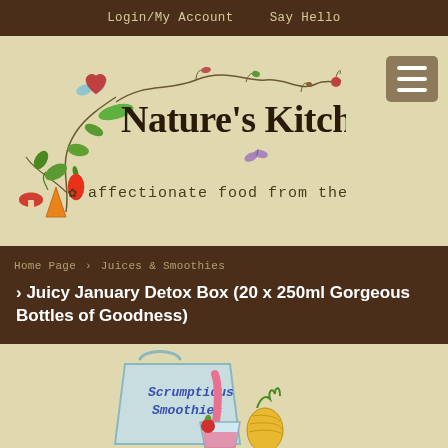Login/My Account   Say Hello
[Figure (logo): Nature's Kitchen logo with illustrated vegetables, flowers, and handwritten text 'affectionate food from the heart']
[Figure (illustration): Menu/hamburger button icon (three horizontal lines) in a brown square]
Home Page > Juices & Smoothies
> Juicy January Detox Box (20 x 250ml Gorgeous Bottles of Goodness)
[Figure (illustration): Illustrated smoothie bag labeled 'Scrumptious Smoothies' with a pink smoothie being poured into a glass, with a strawberry and pineapple]